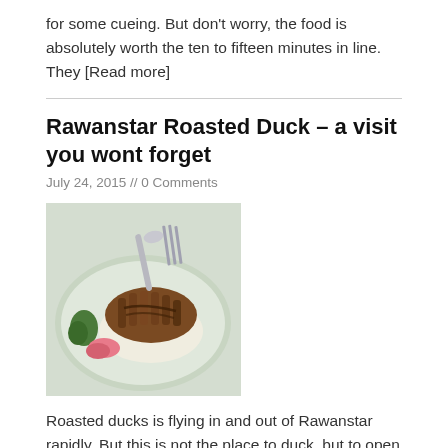for some cueing. But don't worry, the food is absolutely worth the ten to fifteen minutes in line. They [Read more]
Rawanstar Roasted Duck – a visit you wont forget
July 24, 2015 // 0 Comments
[Figure (photo): A plate of roasted duck over rice with sauce, garnished with vegetables and pink pickled ginger, with a spoon resting on the plate.]
Roasted ducks is flying in and out of Rawanstar rapidly. But this is not the place to duck, but to open your mouth for some incredible flavors. Rawanstar Roasted Duck is packed with fans during breakfast and lunchtime hours. You'll soon enough understand when you put the first spoon to your [Read more]